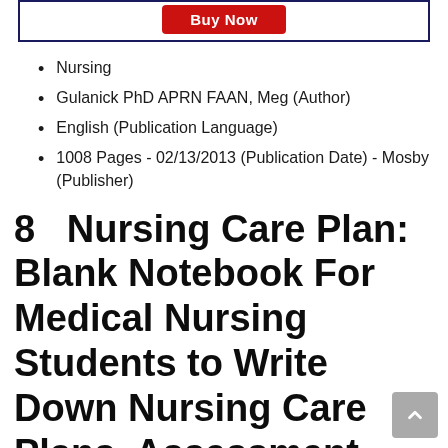[Figure (other): Red 'Buy Now' button inside a dark navy blue bordered box]
Nursing
Gulanick PhD APRN FAAN, Meg (Author)
English (Publication Language)
1008 Pages - 02/13/2013 (Publication Date) - Mosby (Publisher)
8  Nursing Care Plan: Blank Notebook For Medical Nursing Students to Write Down Nursing Care Plans, Assessment, Diagnoses, Outcomes